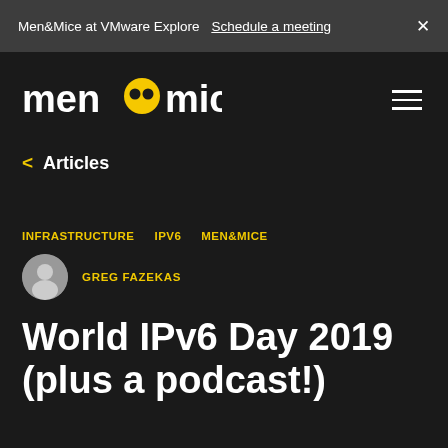Men&Mice at VMware Explore  Schedule a meeting  ×
[Figure (logo): Men&Mice logo — white text 'men' followed by a circular icon with two yellow dots (mouse face) then 'mice' in white]
< Articles
INFRASTRUCTURE   IPV6   MEN&MICE
GREG FAZEKAS
World IPv6 Day 2019 (plus a podcast!)